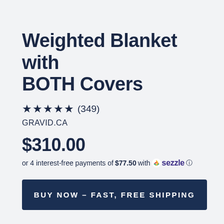Weighted Blanket with BOTH Covers
★★★★★ (349)
GRAVID.CA
$310.00
or 4 interest-free payments of $77.50 with sezzle ℹ
BUY NOW – FAST, FREE SHIPPING
This weighted blanket is delightfully designed